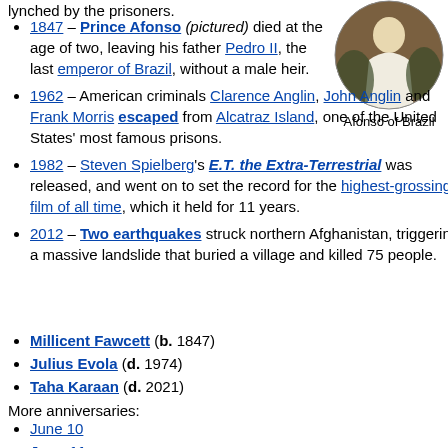lynched by the prisoners.
[Figure (photo): Portrait of Afonso of Brazil, a young child in white dress, circular vignette photo]
Afonso of Brazil
1847 – Prince Afonso (pictured) died at the age of two, leaving his father Pedro II, the last emperor of Brazil, without a male heir.
1962 – American criminals Clarence Anglin, John Anglin and Frank Morris escaped from Alcatraz Island, one of the United States' most famous prisons.
1982 – Steven Spielberg's E.T. the Extra-Terrestrial was released, and went on to set the record for the highest-grossing film of all time, which it held for 11 years.
2012 – Two earthquakes struck northern Afghanistan, triggering a massive landslide that buried a village and killed 75 people.
Millicent Fawcett (b. 1847)
Julius Evola (d. 1974)
Taha Karaan (d. 2021)
More anniversaries:
June 10
June 11
June 12